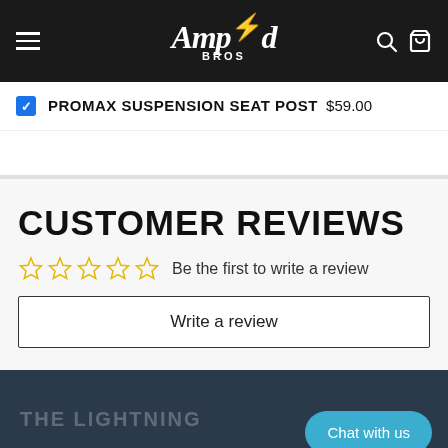[Figure (screenshot): Ampd Bros logo with lightning bolt in yellow-green, white italic script text, BROS in small caps below, on dark background]
PROMAX SUSPENSION SEAT POST $59.00
CUSTOMER REVIEWS
☆☆☆☆☆ Be the first to write a review
Write a review
[Figure (photo): Dark teal/navy background with faint text reading 'THE LIGHTNING' and a Chat with us button overlay]